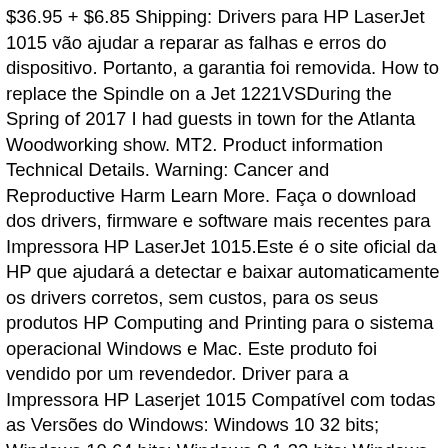$36.95 + $6.85 Shipping: Drivers para HP LaserJet 1015 vão ajudar a reparar as falhas e erros do dispositivo. Portanto, a garantia foi removida. How to replace the Spindle on a Jet 1221VSDuring the Spring of 2017 I had guests in town for the Atlanta Woodworking show. MT2. Product information Technical Details. Warning: Cancer and Reproductive Harm Learn More. Faça o download dos drivers, firmware e software mais recentes para Impressora HP LaserJet 1015.Este é o site oficial da HP que ajudará a detectar e baixar automaticamente os drivers corretos, sem custos, para os seus produtos HP Computing and Printing para o sistema operacional Windows e Mac. Este produto foi vendido por um revendedor. Driver para a Impressora HP Laserjet 1015 Compatível com todas as Versões do Windows: Windows 10 32 bits; Windows 10 64 bits; Windows 8.1 32 bits; Windows 8.1 64 bits Este produto foi trocado por um produto novo ou recondicionado. Os guias do usuário em PDF requerem o Adobe Acrobat Reader para exibição e impressão. © Copyright 2021 HP Development Company, L.P. Selecione 'Continuar' para prosseguir para o novo produto. mês restante Encontre informações de suporte e solução de problemas, incluindo software, drivers e manuais para você Impressora HP LaserJet 1015 The new JET 1015 is an ideal choice for the novice woodturner looking for an affordable, user-friendly first lathe, as well as the